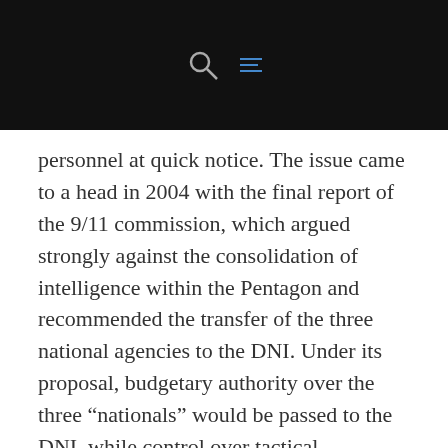[navigation bar with search and menu icons]
personnel at quick notice. The issue came to a head in 2004 with the final report of the 9/11 commission, which argued strongly against the consolidation of intelligence within the Pentagon and recommended the transfer of the three national agencies to the DNI. Under its proposal, budgetary authority over the three “nationals” would be passed to the DNI, while control over tactical intelligence by the four armed services would remain under the domain of the Department of Defense. Those proposals were folded into the intelligence reform legislation backed by President Bush. Both houses of Congress passed the bills